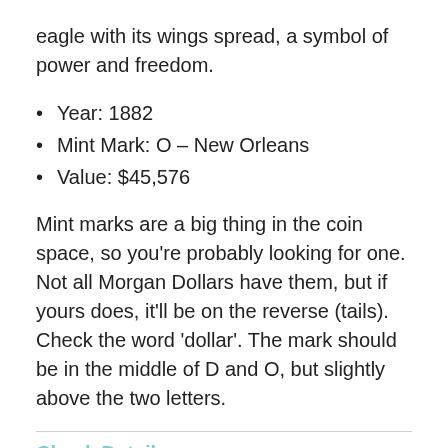eagle with its wings spread, a symbol of power and freedom.
Year: 1882
Mint Mark: O – New Orleans
Value: $45,576
Mint marks are a big thing in the coin space, so you're probably looking for one. Not all Morgan Dollars have them, but if yours does, it'll be on the reverse (tails). Check the word 'dollar'. The mark should be in the middle of D and O, but slightly above the two letters.
Check Details